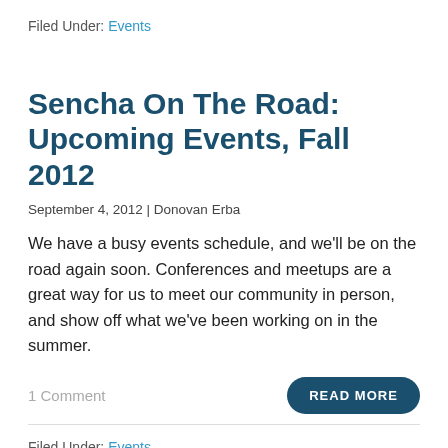Filed Under: Events
Sencha On The Road: Upcoming Events, Fall 2012
September 4, 2012 | Donovan Erba
We have a busy events schedule, and we'll be on the road again soon. Conferences and meetups are a great way for us to meet our community in person, and show off what we've been working on in the summer.
1 Comment
READ MORE
Filed Under: Events